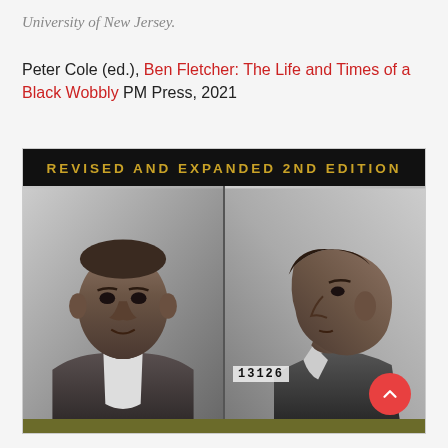University of New Jersey.
Peter Cole (ed.), Ben Fletcher: The Life and Times of a Black Wobbly PM Press, 2021
[Figure (photo): Book cover showing 'REVISED AND EXPANDED 2ND EDITION' banner in gold on black background, with two black-and-white mugshot-style photographs of Ben Fletcher — front view on the left and side profile on the right, with a number tag '13126' visible at the collar of the right image. A red scroll-to-top button appears in the lower right corner. An olive/army green bar is visible at the bottom.]